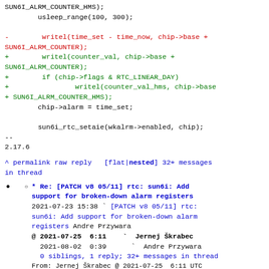SUN6I_ALRM_COUNTER_HMS);
        usleep_range(100, 300);

-        writel(time_set - time_now, chip->base +
SUN6I_ALRM_COUNTER);
+        writel(counter_val, chip->base +
SUN6I_ALRM_COUNTER);
+        if (chip->flags & RTC_LINEAR_DAY)
+                writel(counter_val_hms, chip->base
+ SUN6I_ALRM_COUNTER_HMS);
        chip->alarm = time_set;

        sun6i_rtc_setaie(wkalrm->enabled, chip);
--
2.17.6
^ permalink raw reply   [flat|nested] 32+ messages in thread
* Re: [PATCH v8 05/11] rtc: sun6i: Add support for broken-down alarm registers
2021-07-23 15:38 ` [PATCH v8 05/11] rtc: sun6i: Add support for broken-down alarm registers Andre Przywara
@ 2021-07-25  6:11   ` Jernej Škrabec
  2021-08-02  0:39     ` Andre Przywara
  0 siblings, 1 reply; 32+ messages in thread
From: Jernej Škrabec @ 2021-07-25  6:11 UTC